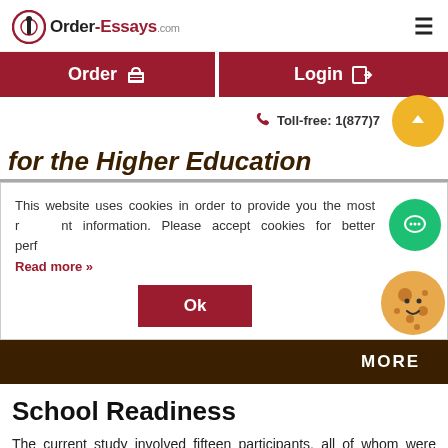Order-Essays.com
Order   Login   Toll-free: 1(877)7...
for the Higher Education
This website uses cookies in order to provide you the most relevant information. Please accept cookies for better performance. Read more »
Ok
MORE
School Readiness
The current study involved fifteen participants, all of whom were parents or guardians of preschool